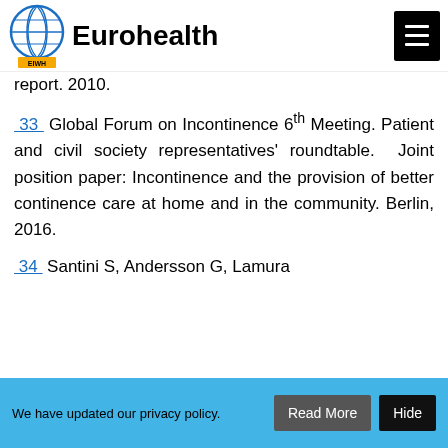Eurohealth
report. 2010.
33 Global Forum on Incontinence 6th Meeting. Patient and civil society representatives' roundtable. Joint position paper: Incontinence and the provision of better continence care at home and in the community. Berlin, 2016.
34 Santini S, Andersson G, Lamura
We have updated our privacy policy.